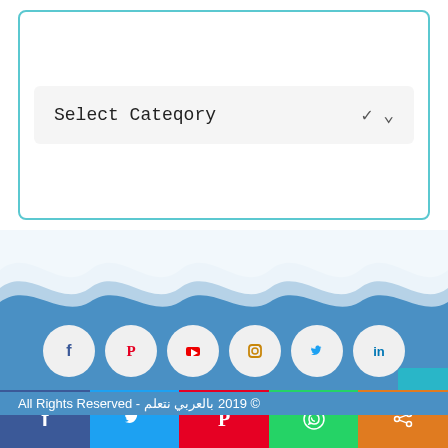[Figure (screenshot): A dropdown UI element with label 'Select Cateqory' and a chevron, inside a teal-bordered card]
[Figure (infographic): Wave decoration and social media icon circles (Facebook, Pinterest, YouTube, Instagram, Twitter, LinkedIn) on blue background]
© 2019 بالعربي نتعلم - All Rights Reserved
[Figure (infographic): Social share bar with Facebook, Twitter, Pinterest, WhatsApp, and share icons]